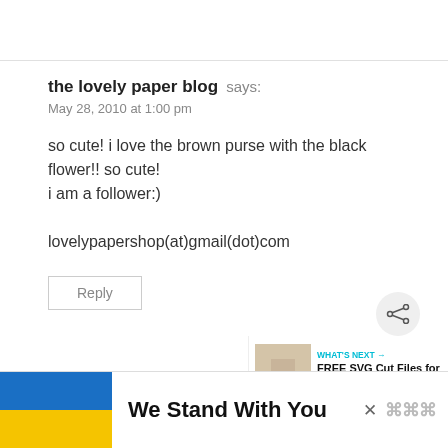the lovely paper blog says:
May 28, 2010 at 1:00 pm
so cute! i love the brown purse with the black flower!! so cute!
i am a follower:)

lovelypapershop(at)gmail(dot)com
Reply
[Figure (infographic): WHAT'S NEXT arrow label with thumbnail image and text: FREE SVG Cut Files for Cri...]
[Figure (infographic): Ad banner: Ukrainian flag colors (blue and yellow) with text 'We Stand With You' and close button and logo]